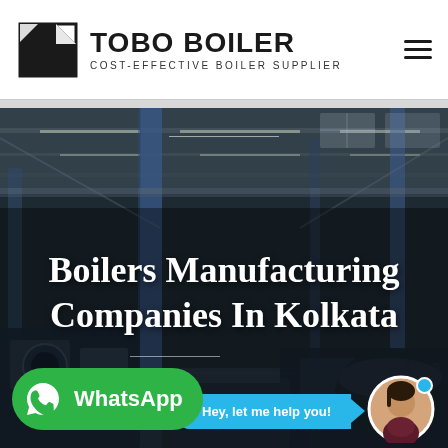TOBO BOILER — COST-EFFECTIVE BOILER SUPPLIER
[Figure (screenshot): Tobo Boiler website screenshot showing a factory interior hero image with text 'Boilers Manufacturing Companies In Kolkata', a chat assistant bubble saying 'Hey, let me help you!' with a female avatar, and a green WhatsApp button at the bottom left.]
Boilers Manufacturing Companies In Kolkata
Hey, let me help you!
WhatsApp